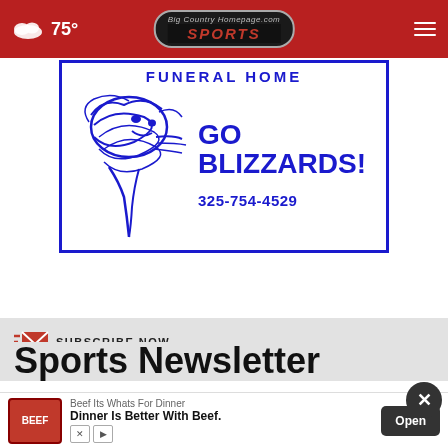☁ 75° | Big Country Homepage.com SPORTS
[Figure (advertisement): Funeral Home advertisement with Blizzards mascot (tornado cartoon). Text reads: FUNERAL HOME, GO BLIZZARDS!, 325-754-4529. Blue border, blue text on white background.]
SUBSCRIBE NOW
Sports Newsletter
[Figure (advertisement): Beef Its Whats For Dinner ad. Shows beef logo, text: Beef Its Whats For Dinner, Dinner Is Better With Beef. Open button.]